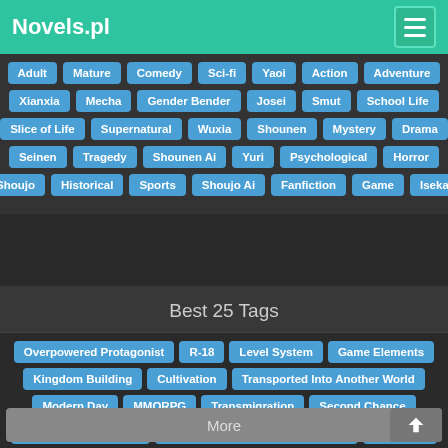Novels.pl
Adult, Mature, Comedy, Sci-fi, Yaoi, Action, Adventure
Xianxia, Mecha, Gender Bender, Josei, Smut, School Life
Slice of Life, Supernatural, Wuxia, Shounen, Mystery, Drama
Seinen, Tragedy, Shounen Ai, Yuri, Psychological, Horror
Shoujo, Historical, Sports, Shoujo Ai, Fanfiction, Game, Isekai
Best 25 Tags
Overpowered Protagonist, R-18, Level System, Game Elements
Kingdom Building, Cultivation, Transported Into Another World
Modern Day, MMORPG, Transmigration, Second Chance
System Administrator, Protagonist Strong from the Start, Polygamy
Female Protagonist, Sword And Magic, Cheats, Weak to Strong
Dragons, Post-apocalyptic, Fanfiction, Ruthless Protagonist
Adapted to Manga, Genius Protagonist, Reincarnation
More